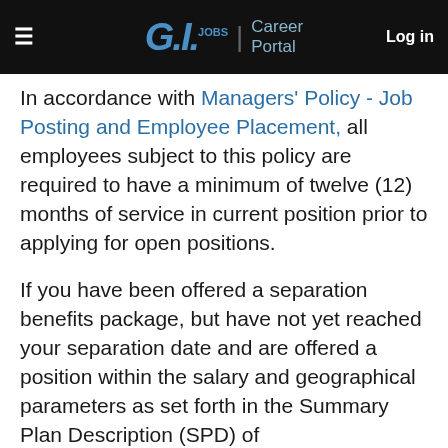GI.JOBS | Career Portal  Log in
In accordance with Managers' Policy - Job Posting and Employee Placement, all employees subject to this policy are required to have a minimum of twelve (12) months of service in current position prior to applying for open positions.
If you have been offered a separation benefits package, but have not yet reached your separation date and are offered a position within the salary and geographical parameters as set forth in the Summary Plan Description (SPD) of